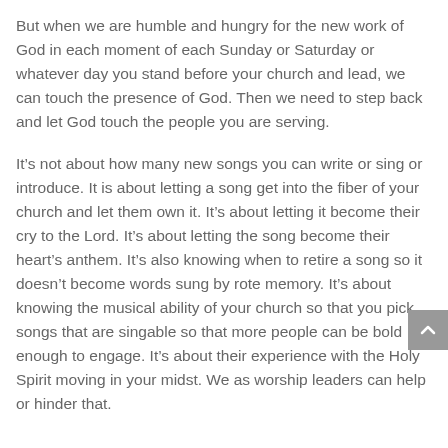But when we are humble and hungry for the new work of God in each moment of each Sunday or Saturday or whatever day you stand before your church and lead, we can touch the presence of God. Then we need to step back and let God touch the people you are serving.
It’s not about how many new songs you can write or sing or introduce. It is about letting a song get into the fiber of your church and let them own it. It’s about letting it become their cry to the Lord. It’s about letting the song become their heart’s anthem. It’s also knowing when to retire a song so it doesn’t become words sung by rote memory. It’s about knowing the musical ability of your church so that you pick songs that are singable so that more people can be bold enough to engage. It’s about their experience with the Holy Spirit moving in your midst. We as worship leaders can help or hinder that.